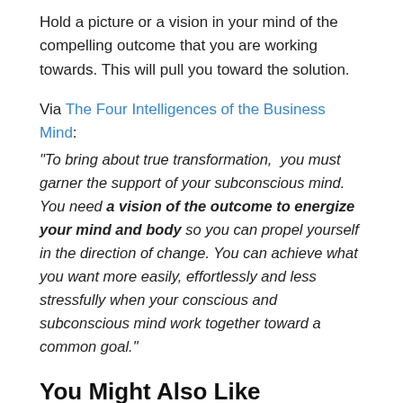Hold a picture or a vision in your mind of the compelling outcome that you are working towards. This will pull you toward the solution.
Via The Four Intelligences of the Business Mind: "To bring about true transformation, you must garner the support of your subconscious mind. You need a vision of the outcome to energize your mind and body so you can propel yourself in the direction of change. You can achieve what you want more easily, effortlessly and less stressfully when your conscious and subconscious mind work together toward a common goal."
You Might Also Like